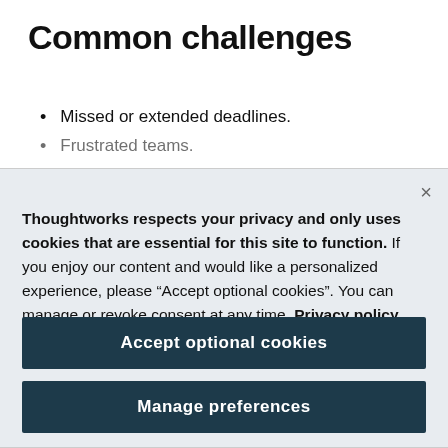Common challenges
Missed or extended deadlines.
Frustrated teams.
Thoughtworks respects your privacy and only uses cookies that are essential for this site to function. If you enjoy our content and would like a personalized experience, please “Accept optional cookies”. You can manage or revoke consent at any time. Privacy policy
Accept optional cookies
Manage preferences